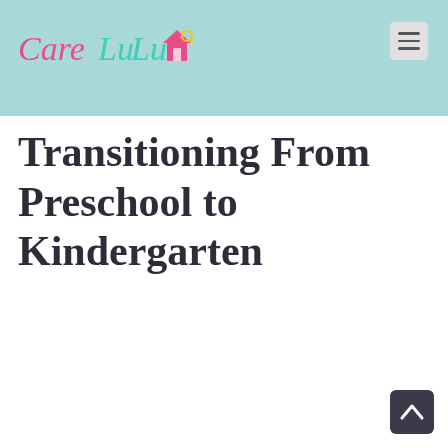CareLuLu
Transitioning From Preschool to Kindergarten